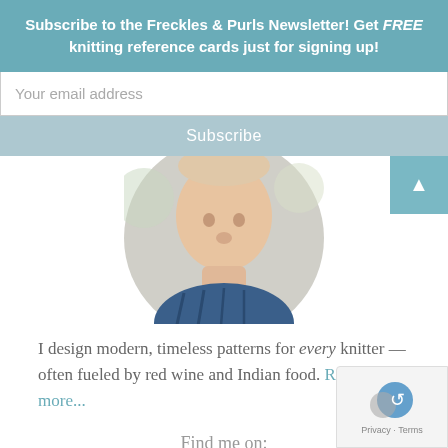Subscribe to the Freckles & Purls Newsletter! Get FREE knitting reference cards just for signing up!
Your email address
Subscribe
[Figure (photo): Circular cropped profile photo of a person wearing a dark blue top, with a light blurred background.]
I design modern, timeless patterns for every knitter — often fueled by red wine and Indian food. Read more...
Find me on:
[Figure (infographic): A row of circular social media icon buttons in various colors: dark green, blue, teal, green, orange, red-orange, and dark red. Each has a dashed border ring and small white icons.]